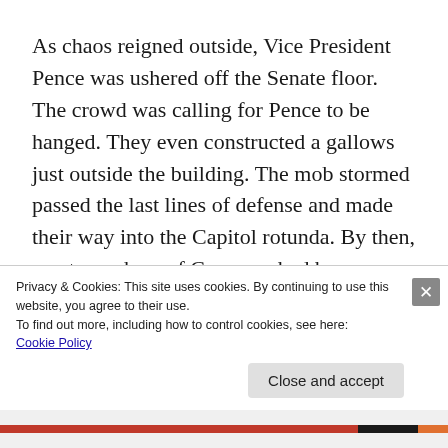As chaos reigned outside, Vice President Pence was ushered off the Senate floor. The crowd was calling for Pence to be hanged. They even constructed a gallows just outside the building. The mob stormed passed the last lines of defense and made their way into the Capitol rotunda. By then, most members of Congress had been brought to an undisclosed location inside the building. As the mob was inside the building, Trump, who was reportedly
Privacy & Cookies: This site uses cookies. By continuing to use this website, you agree to their use.
To find out more, including how to control cookies, see here:
Cookie Policy
Close and accept